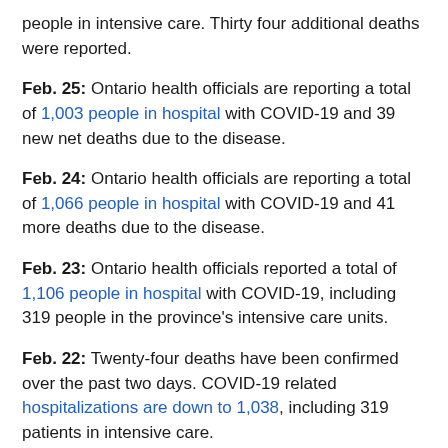people in intensive care. Thirty four additional deaths were reported.
Feb. 25: Ontario health officials are reporting a total of 1,003 people in hospital with COVID-19 and 39 new net deaths due to the disease.
Feb. 24: Ontario health officials are reporting a total of 1,066 people in hospital with COVID-19 and 41 more deaths due to the disease.
Feb. 23: Ontario health officials reported a total of 1,106 people in hospital with COVID-19, including 319 people in the province's intensive care units.
Feb. 22: Twenty-four deaths have been confirmed over the past two days. COVID-19 related hospitalizations are down to 1,038, including 319 patients in intensive care.
Feb. 21: COVID-19 numbers were not released on Monday, due to Family Day...